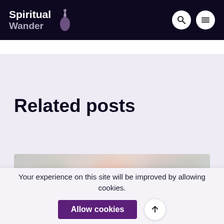Spiritual Wander
Related posts
[Figure (photo): Blurred photograph of colorful objects, likely crystals or spiritual items on a light background]
Your experience on this site will be improved by allowing cookies.
Allow cookies